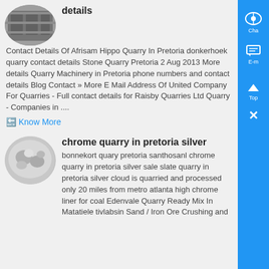[Figure (photo): Circular thumbnail of warehouse/storage interior]
details
Contact Details Of Afrisam Hippo Quarry In Pretoria donkerhoek quarry contact details Stone Quarry Pretoria 2 Aug 2013 More details Quarry Machinery in Pretoria phone numbers and contact details Blog Contact » More E Mail Address Of United Company For Quarries - Full contact details for Raisby Quarries Ltd Quarry - Companies in ....
Know More
[Figure (photo): Circular thumbnail of chrome/silver quarry material]
chrome quarry in pretoria silver
bonnekort quary pretoria santhosanl chrome quarry in pretoria silver sale slate quarry in pretoria silver cloud is quarried and processed only 20 miles from metro atlanta high chrome liner for coal Edenvale Quarry Ready Mix In Matatiele tivlabsin Sand / Iron Ore Crushing and